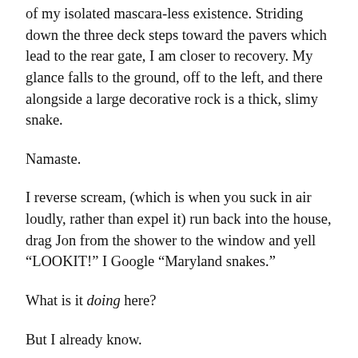of my isolated mascara-less existence. Striding down the three deck steps toward the pavers which lead to the rear gate, I am closer to recovery. My glance falls to the ground, off to the left, and there alongside a large decorative rock is a thick, slimy snake.
Namaste.
I reverse scream, (which is when you suck in air loudly, rather than expel it) run back into the house, drag Jon from the shower to the window and yell “LOOKIT!” I Google “Maryland snakes.”
What is it doing here?
But I already know.
It is here for brunch.